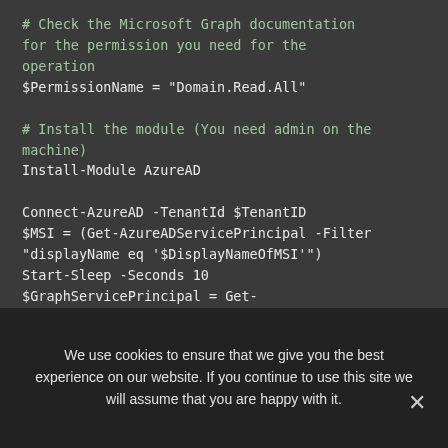# Check the Microsoft Graph documentation for the permission you need for the operation
$PermissionName = "Domain.Read.All"

# Install the module (You need admin on the machine)
Install-Module AzureAD

Connect-AzureAD -TenantId $TenantID
$MSI = (Get-AzureADServicePrincipal -Filter "displayName eq '$DisplayNameOfMSI'")
Start-Sleep -Seconds 10
$GraphServicePrincipal = Get-
We use cookies to ensure that we give you the best experience on our website. If you continue to use this site we will assume that you are happy with it.